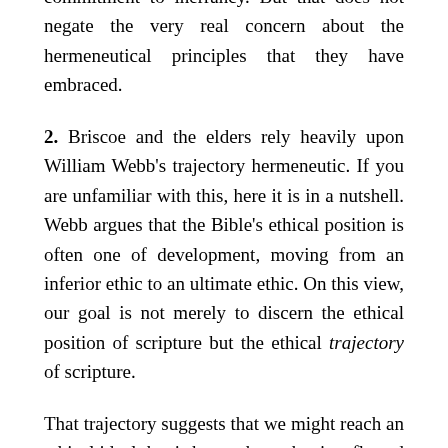commitment to inerrancy. But that does not negate the very real concern about the hermeneutical principles that they have embraced.
2. Briscoe and the elders rely heavily upon William Webb's trajectory hermeneutic. If you are unfamiliar with this, here it is in a nutshell. Webb argues that the Bible's ethical position is often one of development, moving from an inferior ethic to an ultimate ethic. On this view, our goal is not merely to discern the ethical position of scripture but the ethical trajectory of scripture.
That trajectory suggests that we might reach an ethical ideal that is better than what is reflected in scripture itself. An example of this would be slavery. The Bible endorses slavery, but we now know that was wrong. So we reject slavery even though the Bible endorses it. Likewise, the Bible may teach male headship in marriage and church